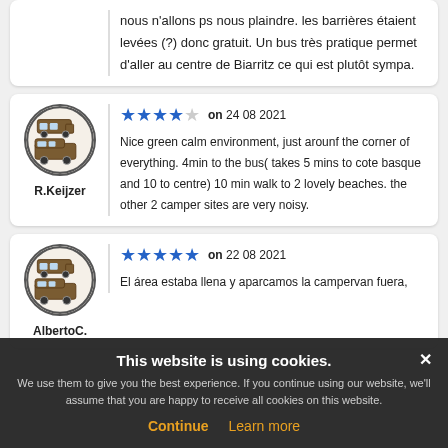nous n'allons ps nous plaindre. les barrières étaient levées (?) donc gratuit. Un bus très pratique permet d'aller au centre de Biarritz ce qui est plutôt sympa.
R.Keijzer — 4 stars on 24 08 2021 — Nice green calm environment, just arounf the corner of everything. 4min to the bus( takes 5 mins to cote basque and 10 to centre) 10 min walk to 2 lovely beaches. the other 2 camper sites are very noisy.
AlbertoC. — 5 stars on 22 08 2021 — El área estaba llena y aparcamos la campervan fuera, ... tranquilo y a 10 ...
This website is using cookies. We use them to give you the best experience. If you continue using our website, we'll assume that you are happy to receive all cookies on this website. Continue  Learn more